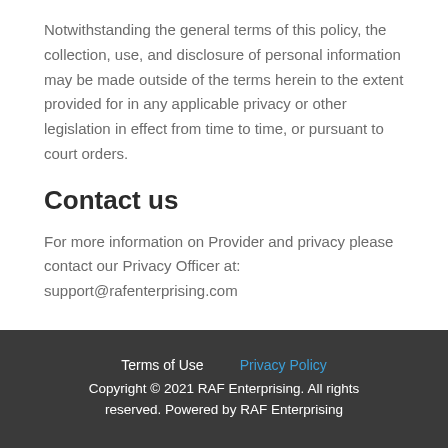Notwithstanding the general terms of this policy, the collection, use, and disclosure of personal information may be made outside of the terms herein to the extent provided for in any applicable privacy or other legislation in effect from time to time, or pursuant to court orders.
Contact us
For more information on Provider and privacy please contact our Privacy Officer at: support@rafenterprising.com
Terms of Use   Privacy Policy
Copyright © 2021 RAF Enterprising. All rights reserved. Powered by RAF Enterprising